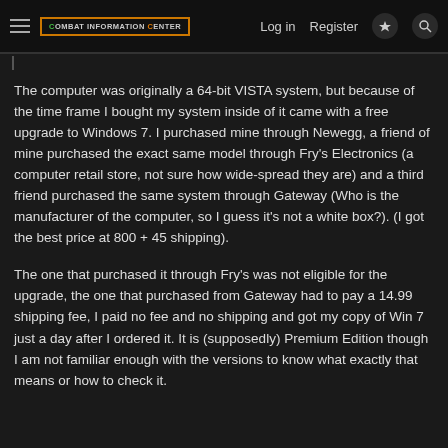COMBAT INFORMATION CENTER | Log in | Register
The computer was originally a 64-bit VISTA system, but because of the time frame I bought my system inside of it came with a free upgrade to Windows 7. I purchased mine through Newegg, a friend of mine purchased the exact same model through Fry's Electronics (a computer retail store, not sure how wide-spread they are) and a third friend purchased the same system through Gateway (Who is the manufacturer of the computer, so I guess it's not a white box?). (I got the best price at 800 + 45 shipping).
The one that purchased it through Fry's was not eligible for the upgrade, the one that purchased from Gateway had to pay a 14.99 shipping fee, I paid no fee and no shipping and got my copy of Win 7 just a day after I ordered it. It is (supposedly) Premium Edition though I am not familiar enough with the versions to know what exactly that means or how to check it.